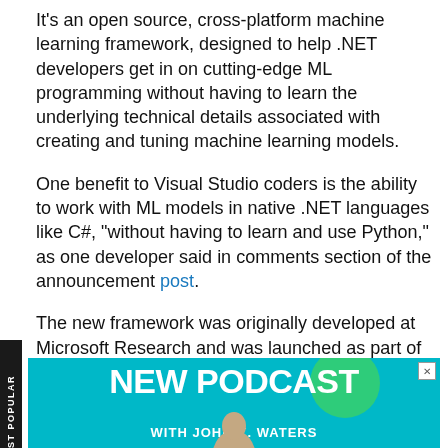It's an open source, cross-platform machine learning framework, designed to help .NET developers get in on cutting-edge ML programming without having to learn the underlying technical details associated with creating and tuning machine learning models.
One benefit to Visual Studio coders is the ability to work with ML models in native .NET languages like C#, "without having to learn and use Python," as one developer said in comments section of the announcement post.
The new framework was originally developed at Microsoft Research and was launched as part of the .NET Foundation.
[Figure (infographic): Advertisement banner with cyan/teal background reading 'NEW PODCAST WITH JOHN K. WATERS' with a green circle accent and a person's photo at the bottom]